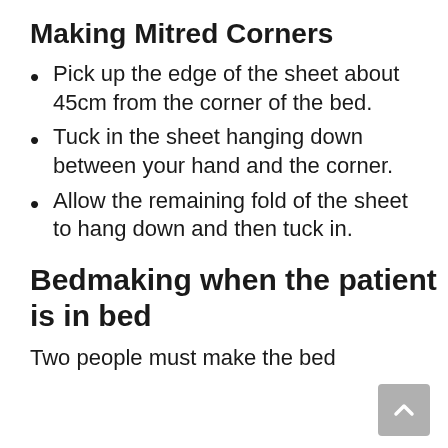Making Mitred Corners
Pick up the edge of the sheet about 45cm from the corner of the bed.
Tuck in the sheet hanging down between your hand and the corner.
Allow the remaining fold of the sheet to hang down and then tuck in.
Bedmaking when the patient is in bed
Two people must make the bed